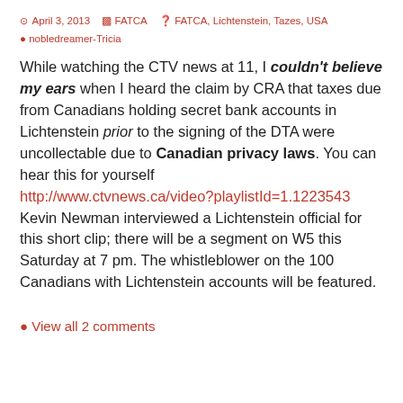April 3, 2013  FATCA  FATCA, Lichtenstein, Tazes, USA  nobledreamer-Tricia
While watching the CTV news at 11, I couldn't believe my ears when I heard the claim by CRA that taxes due from Canadians holding secret bank accounts in Lichtenstein prior to the signing of the DTA were uncollectable due to Canadian privacy laws. You can hear this for yourself http://www.ctvnews.ca/video?playlistId=1.1223543 Kevin Newman interviewed a Lichtenstein official for this short clip; there will be a segment on W5 this Saturday at 7 pm. The whistleblower on the 100 Canadians with Lichtenstein accounts will be featured.
View all 2 comments